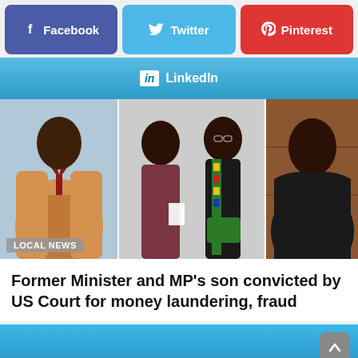[Figure (screenshot): Facebook share button (purple/blue)]
[Figure (screenshot): Twitter share button (light blue)]
[Figure (screenshot): Pinterest share button (red)]
[Figure (screenshot): LinkedIn share button (blue gradient)]
[Figure (photo): Three-panel photo strip showing four men in different outfits; left panel shows man in tan coat and red tie, center panel shows two men one in maroon outfit and one in graduation gown with Kente stole, right panel shows man in dark suit. LOCAL NEWS label overlay.]
Former Minister and MP's son convicted by US Court for money laundering, fraud
[Figure (photo): Partial blue background image at bottom of page with scroll-to-top button]